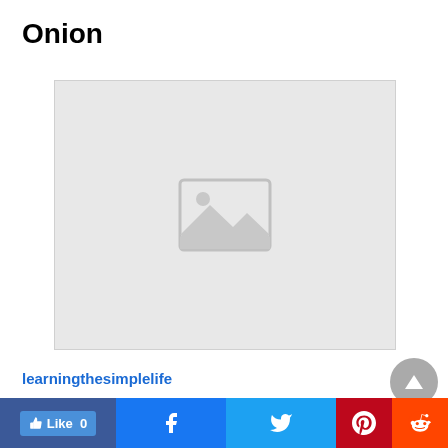Onion
[Figure (photo): Placeholder image with mountain/landscape icon on light gray background]
learningthesimplelife
[Figure (other): Social share bar with Like 0, Facebook, Twitter, Pinterest, Reddit buttons]